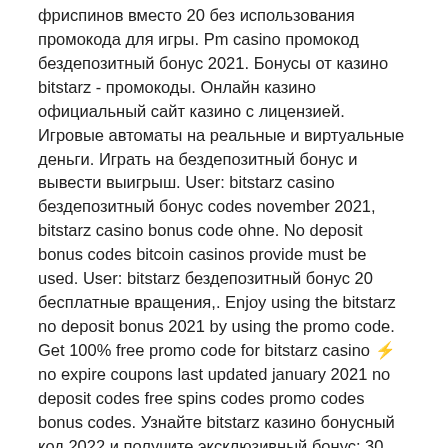фриспинов вместо 20 без использования промокода для игры. Pm casino промокод бездепозитный бонус 2021. Бонусы от казино bitstarz - промокоды. Онлайн казино  официальный сайт казино с лицензией. Игровые автоматы на реальные и виртуальные деньги. Играть на бездепозитный бонус и вывести выигрыш. User: bitstarz casino бездепозитный бонус codes november 2021, bitstarz casino bonus code ohne. No deposit bonus codes bitcoin casinos provide must be used. User: bitstarz бездепозитный бонус 20 бесплатные вращения,. Enjoy using the bitstarz no deposit bonus 2021 by using the promo code. Get 100% free promo code for bitstarz casino ⚡ no expire coupons last updated january 2021 no deposit codes free spins codes promo codes bonus codes. Узнайте bitstarz казино бонусный код 2022 и получите эксклюзивный бонус: 30